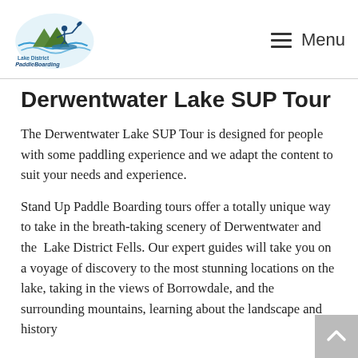Lake District Paddle Boarding — Menu
Derwentwater Lake SUP Tour
The Derwentwater Lake SUP Tour is designed for people with some paddling experience and we adapt the content to suit your needs and experience.
Stand Up Paddle Boarding tours offer a totally unique way to take in the breath-taking scenery of Derwentwater and the  Lake District Fells. Our expert guides will take you on a voyage of discovery to the most stunning locations on the lake, taking in the views of Borrowdale, and the surrounding mountains, learning about the landscape and history